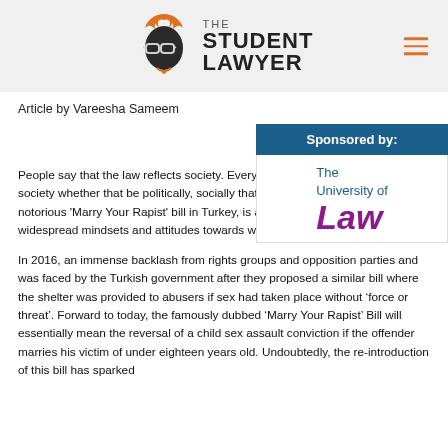The Student Lawyer
Article by Vareesha Sameem
[Figure (logo): Sponsored by: The University of Law logo]
People say that the law reflects society. Every new law is somehow linked to society whether that be politically, so... that seems to be the case, then the 'Marry Your Rapist' bill in Turkey, is an... representation of the widespread mindsets and attitudes towards women.
In 2016, an immense backlash from rights groups and opposition parties and was faced by the Turkish government after they proposed a similar bill where the shelter was provided to abusers if sex had taken place without ‘force or threat’. Forward to today, the famously dubbed ‘Marry Your Rapist’ Bill will essentially mean the reversal of a child sex assault conviction if the offender marries his victim of under eighteen years old. Undoubtedly, the re-introduction of this bill has sparked